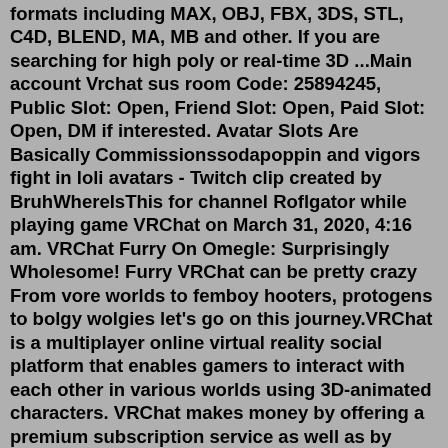formats including MAX, OBJ, FBX, 3DS, STL, C4D, BLEND, MA, MB and other. If you are searching for high poly or real-time 3D ...Main account Vrchat sus room Code: 25894245, Public Slot: Open, Friend Slot: Open, Paid Slot: Open, DM if interested. Avatar Slots Are Basically Commissionssodapoppin and vigors fight in loli avatars - Twitch clip created by BruhWhereIsThis for channel Roflgator while playing game VRChat on March 31, 2020, 4:16 am. VRChat Furry On Omegle: Surprisingly Wholesome! Furry VRChat can be pretty crazy From vore worlds to femboy hooters, protogens to bolgy wolgies let's go on this journey.VRChat is a multiplayer online virtual reality social platform that enables gamers to interact with each other in various worlds using 3D-animated characters. VRChat makes money by offering a premium subscription service as well as by selling merchandise through its own online store. Apr 06, 2022 · VRChat Controls Keyboard. Space/blank – The Space (blank) key triggers the jump action of the player. This key works both when you are on...